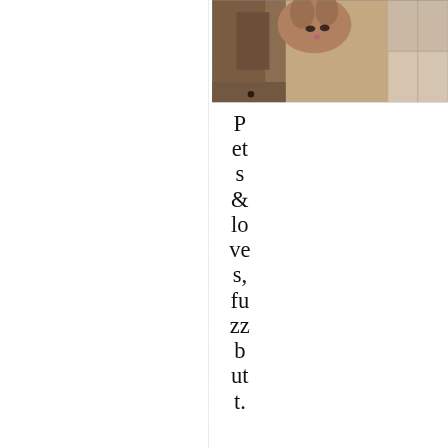[Figure (photo): Partial photo of a cat or pet, cropped, showing fur and tiles, top-right area of the page]
Pets & loves, fuzzbutt.
May 14, 2019